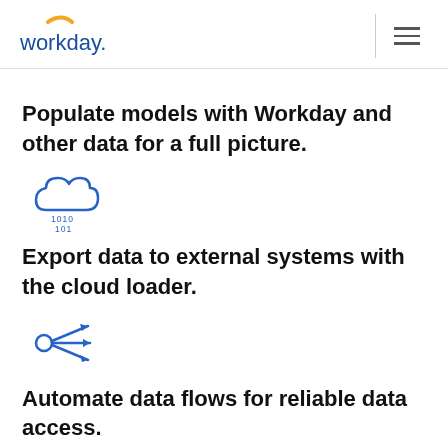workday.
Populate models with Workday and other data for a full picture.
[Figure (illustration): Blue cloud icon with binary digits 1010 101 below it]
Export data to external systems with the cloud loader.
[Figure (illustration): Blue split/fork icon with arrows pointing right]
Automate data flows for reliable data access.